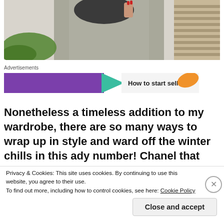[Figure (photo): A person in a grey knit sweater holding a dark bag, with greenery and wooden shutters in the background — fashion/lifestyle photo, partially cropped at top]
Advertisements
[Figure (screenshot): Advertisement banner with purple background, teal arrow shape, orange leaf shape, and text 'How to start selling']
Nonetheless a timeless addition to my wardrobe, there are so many ways to wrap up in style and ward off the winter chills in this ady number! Chanel that retro
Privacy & Cookies: This site uses cookies. By continuing to use this website, you agree to their use.
To find out more, including how to control cookies, see here: Cookie Policy
Close and accept